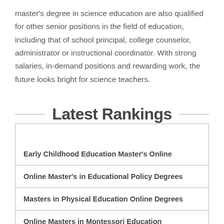master's degree in science education are also qualified for other senior positions in the field of education, including that of school principal, college counselor, administrator or instructional coordinator. With strong salaries, in-demand positions and rewarding work, the future looks bright for science teachers.
Latest Rankings
Early Childhood Education Master's Online
Online Master's in Educational Policy Degrees
Masters in Physical Education Online Degrees
Online Masters in Montessori Education